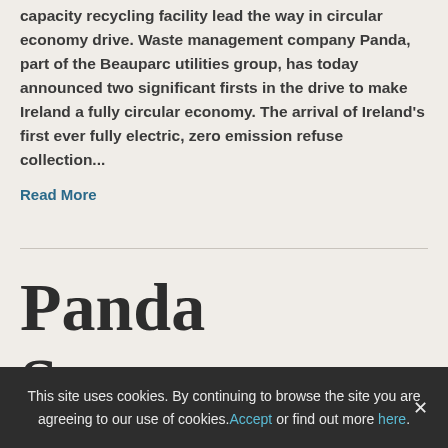capacity recycling facility lead the way in circular economy drive. Waste management company Panda, part of the Beauparc utilities group, has today announced two significant firsts in the drive to make Ireland a fully circular economy. The arrival of Ireland's first ever fully electric, zero emission refuse collection...
Read More
Panda Secures
This site uses cookies. By continuing to browse the site you are agreeing to our use of cookies. Accept or find out more here.